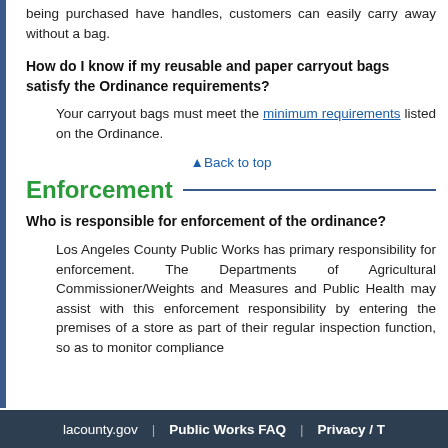being purchased have handles, customers can easily carry away without a bag.
How do I know if my reusable and paper carryout bags satisfy the Ordinance requirements?
Your carryout bags must meet the minimum requirements listed on the Ordinance.
▲Back to top
Enforcement
Who is responsible for enforcement of the ordinance?
Los Angeles County Public Works has primary responsibility for enforcement. The Departments of Agricultural Commissioner/Weights and Measures and Public Health may assist with this enforcement responsibility by entering the premises of a store as part of their regular inspection function, so as to monitor compliance
lacounty.gov  |  Public Works FAQ  |  Privacy / T